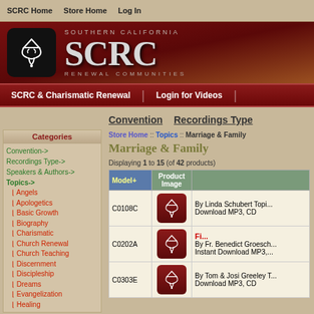SCRC Home   Store Home   Log In
[Figure (logo): SCRC Southern California Renewal Communities logo with white dove/chalice symbol on black rounded square, text 'SOUTHERN CALIFORNIA SCRC RENEWAL COMMUNITIES' on dark red gradient background]
SCRC & Charismatic Renewal | Login for Videos
Convention   Recordings Type
Store Home :: Topics :: Marriage & Family
Marriage & Family
Displaying 1 to 15 (of 42 products)
Categories
Convention->
Recordings Type->
Speakers & Authors->
Topics->
L_ Angels
L_ Apologetics
L_ Basic Growth
L_ Biography
L_ Charismatic
L_ Church Renewal
L_ Church Teaching
L_ Discernment
L_ Discipleship
L_ Dreams
L_ Evangelization
L_ Healing
| Model+ | Product Image |  |
| --- | --- | --- |
| C0108C | [image] | By Linda Schubert Topics Download MP3, CD |
| C0202A | [image] | Fi... By Fr. Benedict Groesch Instant Download MP3, |
| C0303E | [image] | By Tom & Josi Greeley Download MP3, CD |